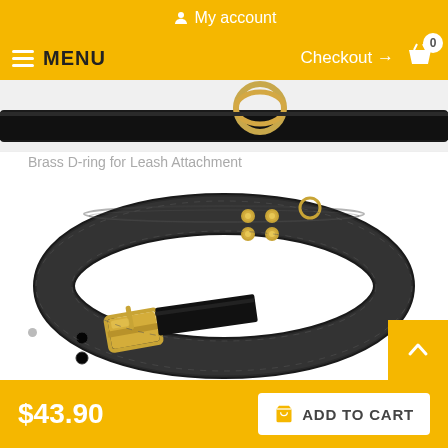My account
MENU  Checkout → 0
[Figure (photo): Partial view of a black leather dog collar with brass D-ring at the top, close-up cropped view]
Brass D-ring for Leash Attachment
[Figure (photo): Black leather dog collar with brass buckle and brass rivets/studs, shown laid flat in a loop shape on white background]
$43.90
ADD TO CART